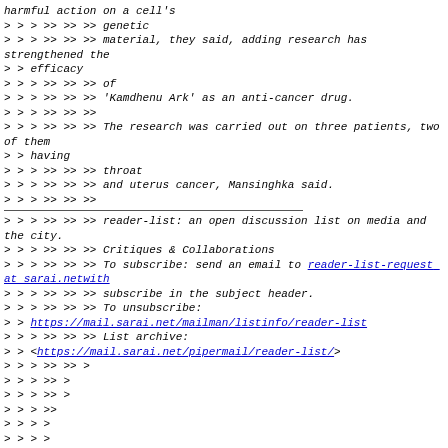harmful action on a cell's
> > > >> >> >> genetic
> > > >> >> >> material, they said, adding research has strengthened the
> > efficacy
> > > >> >> >> of
> > > >> >> >> 'Kamdhenu Ark' as an anti-cancer drug.
> > > >> >> >>
> > > >> >> >> The research was carried out on three patients, two of them
> > having
> > > >> >> >> throat
> > > >> >> >> and uterus cancer, Mansinghka said.
> > > >> >> >>
> > > >> >> >> reader-list: an open discussion list on media and the city.
> > > >> >> >> Critiques & Collaborations
> > > >> >> >> To subscribe: send an email to reader-list-request at sarai.netwith
> > > >> >> >> subscribe in the subject header.
> > > >> >> >> To unsubscribe:
> > https://mail.sarai.net/mailman/listinfo/reader-list
> > > >> >> >> List archive:
> > <https://mail.sarai.net/pipermail/reader-list/>
> > > >> >> >
> > > >> >>
> > > >> >>
> > > >>
> > > >